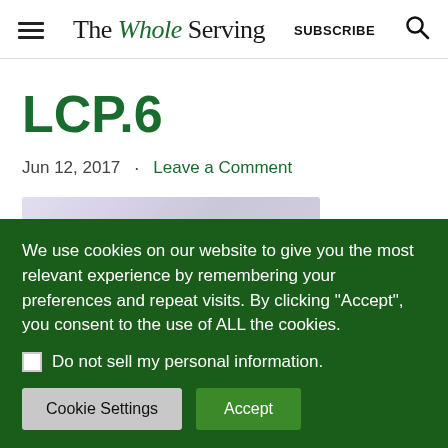The Whole Serving | SUBSCRIBE
LCP.6
Jun 12, 2017 · Leave a Comment
[Figure (photo): Blurred/placeholder image thumbnail]
We use cookies on our website to give you the most relevant experience by remembering your preferences and repeat visits. By clicking “Accept”, you consent to the use of ALL the cookies.
Do not sell my personal information.
Cookie Settings | Accept